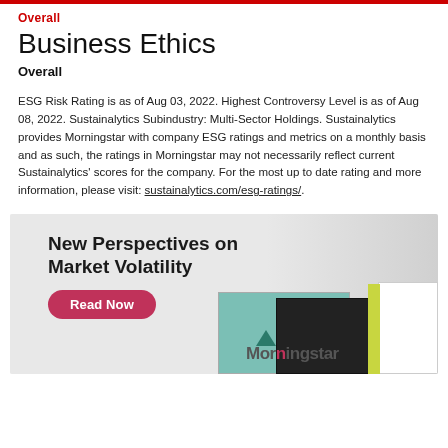Overall
Business Ethics
Overall
ESG Risk Rating is as of Aug 03, 2022. Highest Controversy Level is as of Aug 08, 2022. Sustainalytics Subindustry: Multi-Sector Holdings. Sustainalytics provides Morningstar with company ESG ratings and metrics on a monthly basis and as such, the ratings in Morningstar may not necessarily reflect current Sustainalytics' scores for the company. For the most up to date rating and more information, please visit: sustainalytics.com/esg-ratings/.
[Figure (illustration): Advertisement for Morningstar: 'New Perspectives on Market Volatility' with a 'Read Now' button and images of books/publications with the Morningstar logo.]